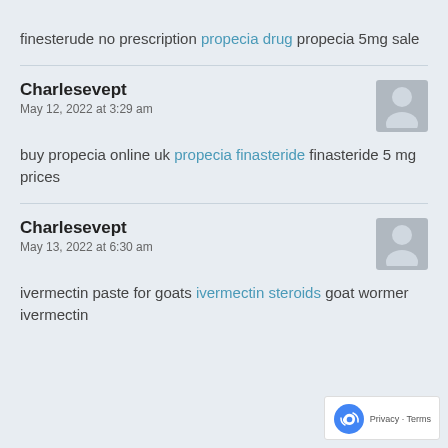finesterude no prescription propecia drug propecia 5mg sale
Charlesevept
May 12, 2022 at 3:29 am
buy propecia online uk propecia finasteride finasteride 5 mg prices
Charlesevept
May 13, 2022 at 6:30 am
ivermectin paste for goats ivermectin steroids goat wormer ivermectin